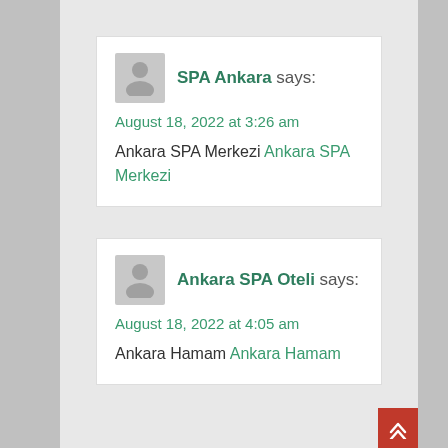SPA Ankara says: August 18, 2022 at 3:26 am — Ankara SPA Merkezi Ankara SPA Merkezi
Ankara SPA Oteli says: August 18, 2022 at 4:05 am — Ankara Hamam Ankara Hamam